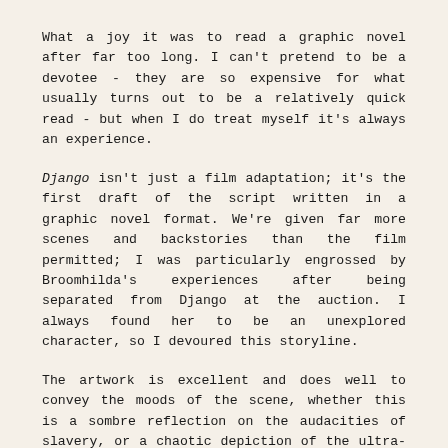What a joy it was to read a graphic novel after far too long. I can't pretend to be a devotee - they are so expensive for what usually turns out to be a relatively quick read - but when I do treat myself it's always an experience.
Django isn't just a film adaptation; it's the first draft of the script written in a graphic novel format. We're given far more scenes and backstories than the film permitted; I was particularly engrossed by Broomhilda's experiences after being separated from Django at the auction. I always found her to be an unexplored character, so I devoured this storyline.
The artwork is excellent and does well to convey the moods of the scene, whether this is a sombre reflection on the audacities of slavery, or a chaotic depiction of the ultra-violence Tarantino is so fond of. Something jumped out of every panel for me; it was intoxicating.
It's now quite clear to me that it's time to gather some pennies together and dive back into this gorgeous